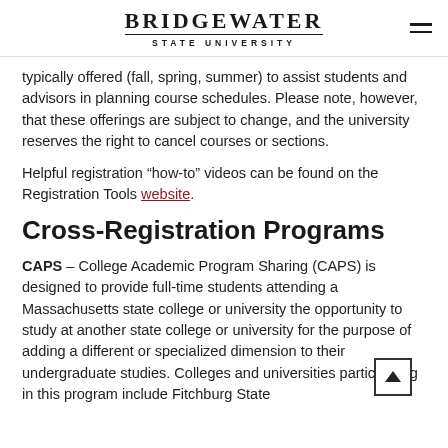BRIDGEWATER STATE UNIVERSITY
typically offered (fall, spring, summer) to assist students and advisors in planning course schedules. Please note, however, that these offerings are subject to change, and the university reserves the right to cancel courses or sections.
Helpful registration “how-to” videos can be found on the Registration Tools website.
Cross-Registration Programs
CAPS – College Academic Program Sharing (CAPS) is designed to provide full-time students attending a Massachusetts state college or university the opportunity to study at another state college or university for the purpose of adding a different or specialized dimension to their undergraduate studies. Colleges and universities participating in this program include Fitchburg State